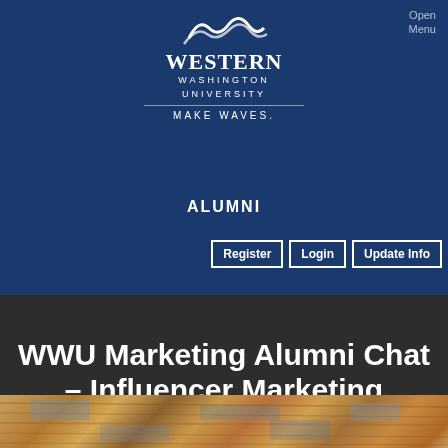[Figure (logo): Western Washington University logo with wave mark, WESTERN WASHINGTON UNIVERSITY text, and MAKE WAVES. tagline on navy blue background]
Open Menu
ALUMNI
Register | Login | Update Info
WWU Marketing Alumni Chat – Influencer Marketing
[Figure (photo): Weathered wood texture with light blue paint, photographed from above]